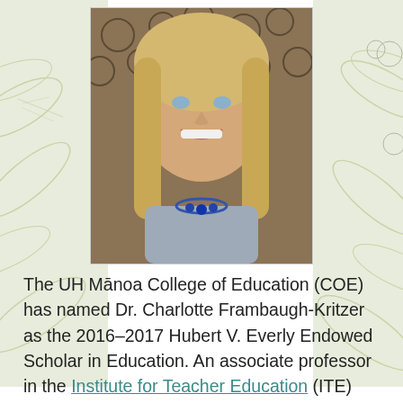[Figure (photo): Portrait photo of Dr. Charlotte Frambaugh-Kritzer, a blonde woman smiling, wearing a grey top and blue necklace, with decorative botanical leaf background on sides]
The UH Mānoa College of Education (COE) has named Dr. Charlotte Frambaugh-Kritzer as the 2016–2017 Hubert V. Everly Endowed Scholar in Education. An associate professor in the Institute for Teacher Education (ITE) Secondary program since 2011, Frambaugh-Kritzer specializes in secondary reading. The scholar position includes a $5,000 allowance for each of two semesters to support career and program development that will benefit the college and education in Hawai'i.